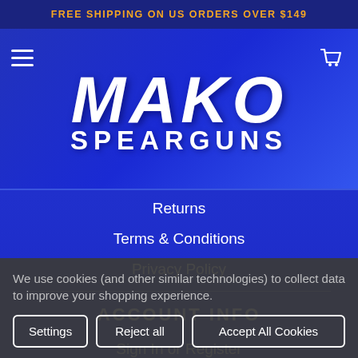FREE SHIPPING ON US ORDERS OVER $149
[Figure (logo): Mako Spearguns logo with hamburger menu and cart icon on blue gradient background]
Returns
Terms & Conditions
Privacy Policy
ACCOUNT INFO
Sign In or Register
My Account
We use cookies (and other similar technologies) to collect data to improve your shopping experience.
Settings | Reject all | Accept All Cookies